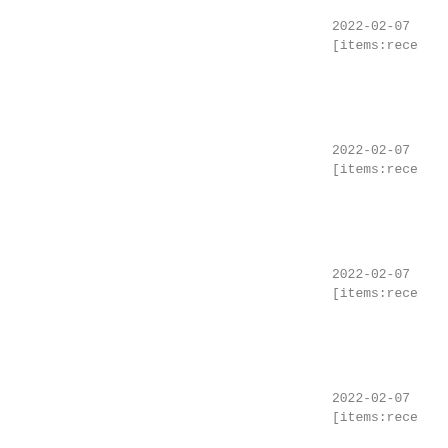2022-02-07
[items:rece
2022-02-07
[items:rece
2022-02-07
[items:rece
2022-02-07
[items:rece
2022-02-07
everything.
2022-02-07
items:recei
8151b410513
2022-02-07
item:mam--u
tigase-303:
domain.com:
eb372ac0099
2022-02-07